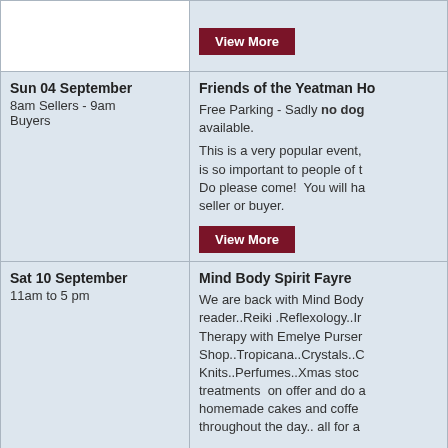| Date/Time | Event |
| --- | --- |
|  | View More |
| Sun 04 September
8am Sellers - 9am Buyers | Friends of the Yeatman Ho...
Free Parking - Sadly no dog... available.
This is a very popular event, is so important to people of t... Do please come! You will ha... seller or buyer.
View More |
| Sat 10 September
11am to 5 pm | Mind Body Spirit Fayre
We are back with Mind Body... reader..Reiki .Reflexology..Ir... Therapy with Emelye Purser... Shop..Tropicana..Crystals..C... Knits..Perfumes..Xmas stoc... treatments on offer and do a... homemade cakes and coffe... throughout the day.. all for a...
View More |
| Fri 16 September
7.30pm (doors open at 7.00pm) | Operation Mincemeat (12)
The remarkable true story o... British intelligence in 1943 to... allies planned to invade Gre... actual target, Sicily. |